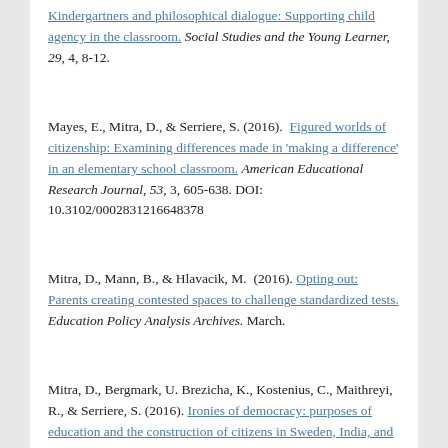Kindergartners and philosophical dialogue: Supporting child agency in the classroom. Social Studies and the Young Learner, 29, 4, 8-12.
Mayes, E., Mitra, D., & Serriere, S. (2016). Figured worlds of citizenship: Examining differences made in 'making a difference' in an elementary school classroom. American Educational Research Journal, 53, 3, 605-638. DOI: 10.3102/0002831216648378
Mitra, D., Mann, B., & Hlavacik, M. (2016). Opting out: Parents creating contested spaces to challenge standardized tests. Education Policy Analysis Archives. March.
Mitra, D., Bergmark, U. Brezicha, K., Kostenius, C., Maithreyi, R., & Serriere, S. (2016). Ironies of democracy: purposes of education and the construction of citizens in Sweden, India, and the United States. Citizenship Teaching